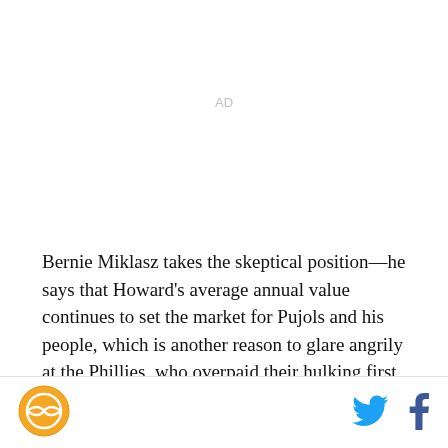AD
Bernie Miklasz takes the skeptical position—he says that Howard's average annual value continues to set the market for Pujols and his people, which is another reason to glare angrily at the Phillies, who overpaid their hulking first baseman and did it so early that the
[Figure (logo): Sports news site logo — orange circle with white basketball icon]
[Figure (logo): Twitter bird icon in blue]
[Figure (logo): Facebook f icon in dark blue]